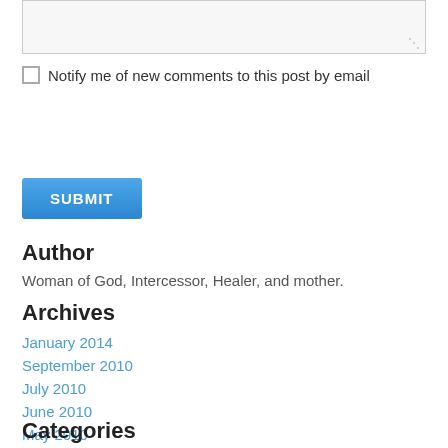[Figure (screenshot): Textarea input box (partially visible, top of page)]
Notify me of new comments to this post by email
[Figure (screenshot): SUBMIT button, blue with white text]
Author
Woman of God, Intercessor, Healer, and mother.
Archives
January 2014
September 2010
July 2010
June 2010
May 2010
Categories